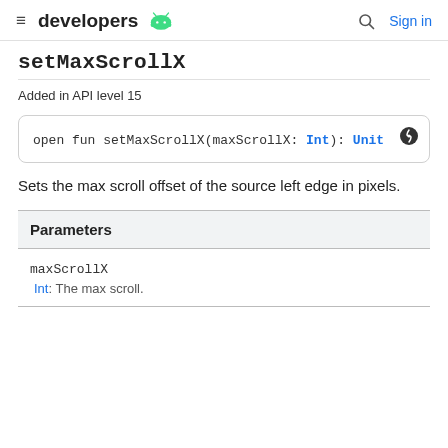developers  [android icon]  [search icon]  Sign in
setMaxScrollX
Added in API level 15
Sets the max scroll offset of the source left edge in pixels.
| Parameters |
| --- |
| maxScrollX |  |
| Int: The max scroll. |  |
Int: The max scroll.